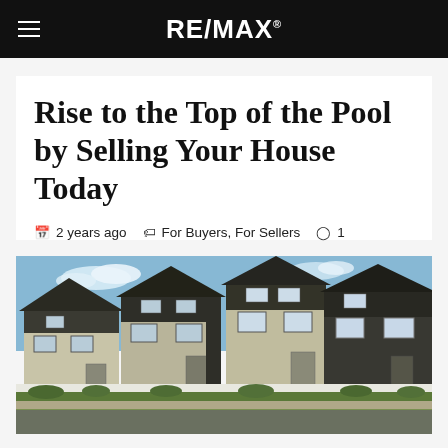RE/MAX
Rise to the Top of the Pool by Selling Your House Today
2 years ago   For Buyers, For Sellers   1
[Figure (photo): Row of modern two-storey houses with dark roofs, cream and dark cladding, white fences, and green landscaping under a blue sky.]